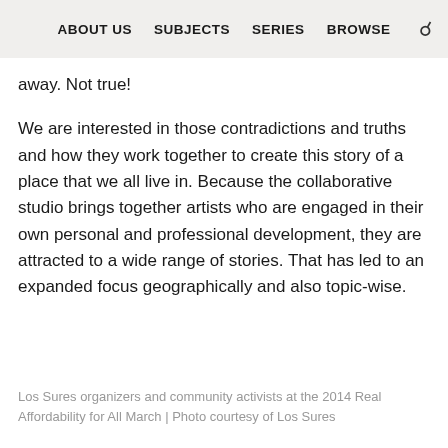ABOUT US  SUBJECTS  SERIES  BROWSE
away. Not true!
We are interested in those contradictions and truths and how they work together to create this story of a place that we all live in. Because the collaborative studio brings together artists who are engaged in their own personal and professional development, they are attracted to a wide range of stories. That has led to an expanded focus geographically and also topic-wise.
Los Sures organizers and community activists at the 2014 Real Affordability for All March | Photo courtesy of Los Sures